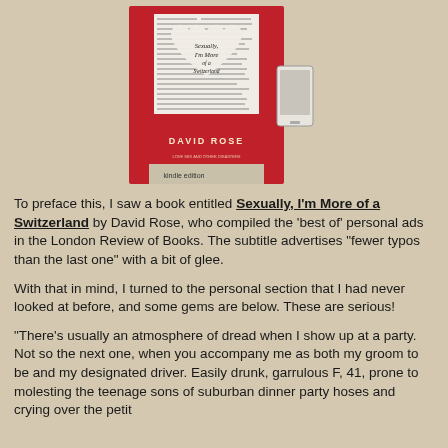[Figure (illustration): Book cover of 'Sexually, I'm More of a Switzerland' by David Rose, Kindle edition. Red cover with a heart shape cut out showing newspaper text, with a Kindle device shown to the right.]
To preface this, I saw a book entitled Sexually, I'm More of a Switzerland by David Rose, who compiled the 'best of' personal ads in the London Review of Books.  The subtitle advertises "fewer typos than the last one" with a bit of glee.
With that in mind, I turned to the personal section that I had never looked at before, and some gems are below.  These are serious!
"There's usually an atmosphere of dread when I show up at a party.  Not so the next one, when you accompany me as both my groom to be and my designated driver.  Easily drunk, garrulous F, 41, prone to molesting the teenage sons of suburban dinner party hoses and crying over the petit